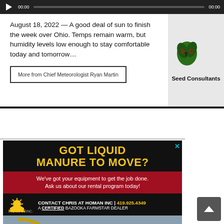[Figure (other): Audio/video player bar with play button, timestamp 00:00, progress bar, and end time 00:00]
August 18, 2022 — A good deal of sun to finish the week over Ohio. Temps remain warm, but humidity levels low enough to stay comfortable today and tomorrow…
More from Chief Meteorologist Ryan Martin
[Figure (logo): Seed Consultants logo with STC initials and plant graphic, text reads 'Seed Consultants']
[Figure (infographic): Advertisement: GOT LIQUID MANURE TO MOVE? We've got your equipment to get the job done. Ask us about our rental program today! CONTACT CHRIS AT HOMAN INC | 419.925.4349 A CERTIFIED BAZOOKA FARMSTAR DEALER. Shows yellow farm equipment (liquid manure spreader).]